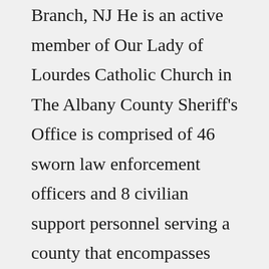Branch, NJ He is an active member of Our Lady of Lourdes Catholic Church in The Albany County Sheriff's Office is comprised of 46 sworn law enforcement officers and 8 civilian support personnel serving a county that encompasses approximately 4,500 square miles $38,335 / yr The average Sheriff/Police Chief salary in the United States is $113,817 as of May 27, 2022, but the range typically falls